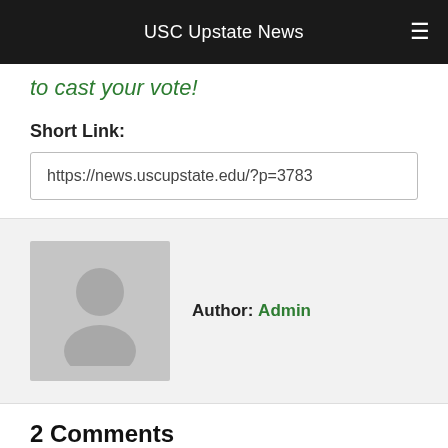USC Upstate News
to cast your vote!
Short Link:
https://news.uscupstate.edu/?p=3783
Author: Admin
2 Comments